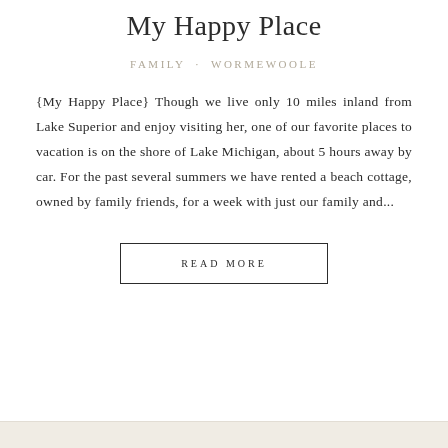My Happy Place
FAMILY · WORMEWOOLE
{My Happy Place} Though we live only 10 miles inland from Lake Superior and enjoy visiting her, one of our favorite places to vacation is on the shore of Lake Michigan, about 5 hours away by car. For the past several summers we have rented a beach cottage, owned by family friends, for a week with just our family and...
READ MORE